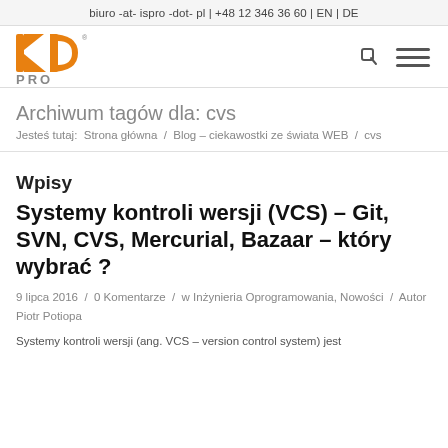biuro -at- ispro -dot- pl | +48 12 346 36 60 | EN | DE
[Figure (logo): ISPRO logo — orange stylized letters KD with PRO text below]
Archiwum tagów dla: cvs
Jesteś tutaj:  Strona główna  /  Blog – ciekawostki ze świata WEB  /  cvs
Wpisy
Systemy kontroli wersji (VCS) – Git, SVN, CVS, Mercurial, Bazaar – który wybrać ?
9 lipca 2016  /  0 Komentarze  /  w Inżynieria Oprogramowania, Nowości  /  Autor Piotr Potiopa
Systemy kontroli wersji (ang. VCS – version control system) jest